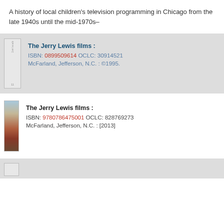A history of local children's television programming in Chicago from the late 1940s until the mid-1970s–
The Jerry Lewis films : ISBN: 0899509614 OCLC: 30914521 McFarland, Jefferson, N.C. : ©1995.
The Jerry Lewis films : ISBN: 9780786475001 OCLC: 828769273 McFarland, Jefferson, N.C. : [2013]